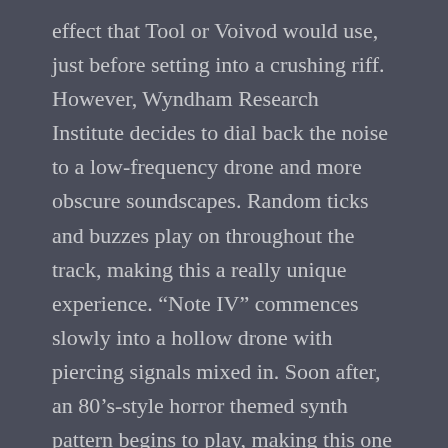effect that Tool or Voivod would use, just before setting into a crushing riff. However, Wyndham Research Institute decides to dial back the noise to a low-frequency drone and more obscure soundscapes. Random ticks and buzzes play on throughout the track, making this a really unique experience. “Note IV” commences slowly into a hollow drone with piercing signals mixed in. Soon after, an 80’s-style horror themed synth pattern begins to play, making this one of the most terrifying tracks on the album. Assorted scratches and screeches intensify the scene as these unidentifiable patterns can only mean mayhem. “Note V” is like a spark of controlled chaos, as various discordances are fused together to present a grueling environment filled with intense moments and obscure